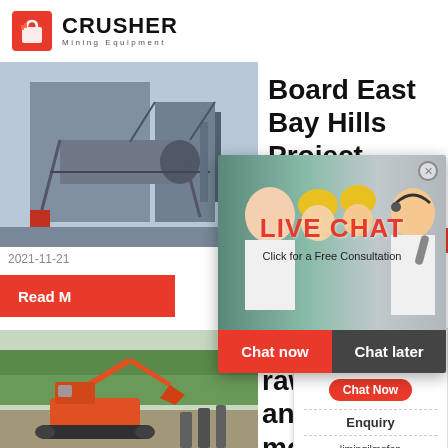[Figure (logo): Crusher Mining Equipment logo with red shopping bag icon and bold CRUSHER text]
[Figure (photo): Industrial plant/mining equipment facility with large cylindrical drum/mill]
Board East Bay Hills Project
[Figure (infographic): 24Hrs Online orange badge]
2021-11-21
Read More
[Figure (photo): Excavator/construction machinery at a site with trees in background]
histor raw m ancie mode
[Figure (screenshot): Live Chat popup overlay with workers in yellow hard hats, LIVE CHAT text in red, Click for a Free Consultation, Chat now and Chat later buttons]
Need questions & suggestion?
Chat Now
Enquiry
limingjlmofen@sina.com